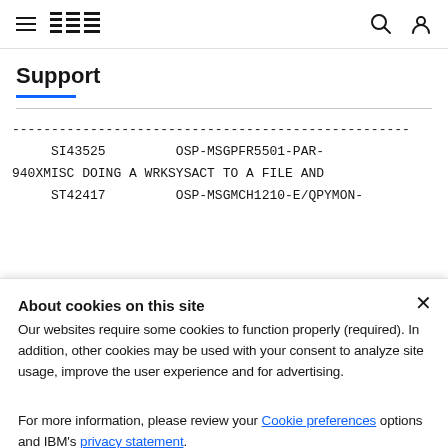IBM Support
Support
---------------------------------------------------
     SI43525         OSP-MSGPFR5501-PAR-
940XMISC DOING A WRKSYSACT TO A FILE AND
     ST42417         OSP-MSGMCH1210-E/QPYMON-
About cookies on this site
Our websites require some cookies to function properly (required). In addition, other cookies may be used with your consent to analyze site usage, improve the user experience and for advertising.

For more information, please review your Cookie preferences options and IBM's privacy statement.
Required only | Accept all